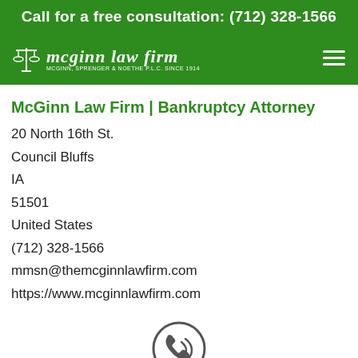Call for a free consultation: (712) 328-1566
[Figure (logo): McGinn Law Firm logo with scales of justice icon and text 'McGinn Law Firm - McGinn, Springer & Noethe P.L.C. Since 1914']
McGinn Law Firm | Bankruptcy Attorney
20 North 16th St.
Council Bluffs
IA
51501
United States
(712) 328-1566
mmsn@themcginnlawfirm.com
https://www.mcginnlawfirm.com
[Figure (illustration): Circular phone call icon with signal waves, labeled CALL underneath]